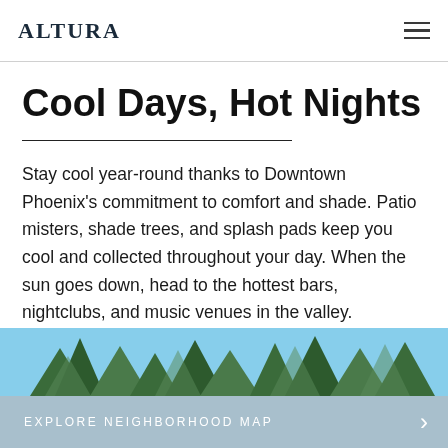ALTURA
Cool Days, Hot Nights
Stay cool year-round thanks to Downtown Phoenix's commitment to comfort and shade. Patio misters, shade trees, and splash pads keep you cool and collected throughout your day. When the sun goes down, head to the hottest bars, nightclubs, and music venues in the valley.
[Figure (photo): Outdoor photo showing trees against a blue sky, partial view at bottom of page]
EXPLORE NEIGHBORHOOD MAP